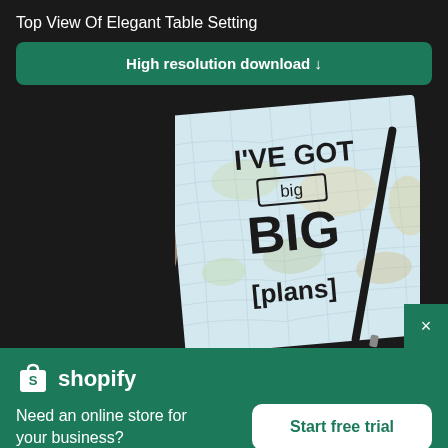Top View Of Elegant Table Setting
High resolution download ↓
[Figure (photo): A notebook with map-print cover showing text 'I'VE GOT big BIG [plans]' with a pen resting on it, and a draped fabric on the left, on a dark background.]
× (close button)
[Figure (logo): Shopify logo — shopping bag icon with 'S' and 'shopify' text]
Need an online store for your business?
Start free trial